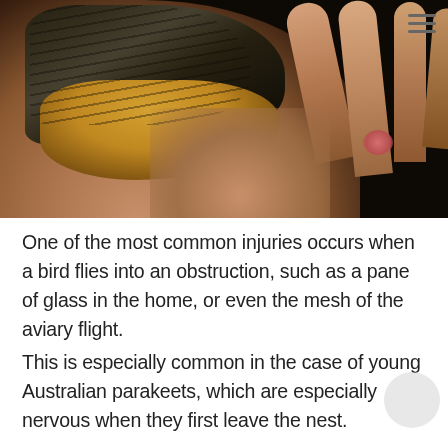[Figure (photo): Close-up photograph of a small bird (appears to be a young parakeet/finch with dark and tawny/orange-brown feathers) being held in a human hand with palm facing up, dark background.]
One of the most common injuries occurs when a bird flies into an obstruction, such as a pane of glass in the home, or even the mesh of the aviary flight.
This is especially common in the case of young Australian parakeets, which are especially nervous when they first leave the nest.